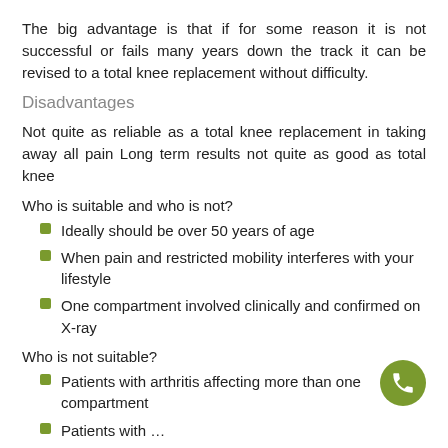The big advantage is that if for some reason it is not successful or fails many years down the track it can be revised to a total knee replacement without difficulty.
Disadvantages
Not quite as reliable as a total knee replacement in taking away all pain Long term results not quite as good as total knee
Who is suitable and who is not?
Ideally should be over 50 years of age
When pain and restricted mobility interferes with your lifestyle
One compartment involved clinically and confirmed on X-ray
Who is not suitable?
Patients with arthritis affecting more than one compartment
Patients with …